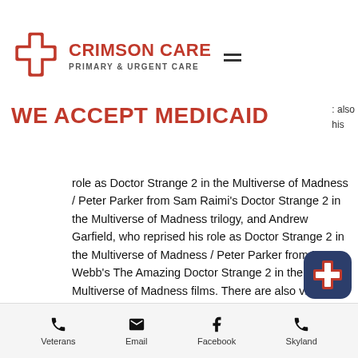[Figure (logo): Crimson Care Primary & Urgent Care logo with red cross icon and text]
WE ACCEPT MEDICAID
role as Doctor Strange 2 in the Multiverse of Madness / Peter Parker from Sam Raimi's Doctor Strange 2 in the Multiverse of Madness trilogy, and Andrew Garfield, who reprised his role as Doctor Strange 2 in the Multiverse of Madness / Peter Parker from Marc Webb's The Amazing Doctor Strange 2 in the Multiverse of Madness films. There are also villains from both past Doctor Strange 2 in the Multiverse of Madness franchises in the Doctor Strange 2 in the Multiverse of Madness cast. See the full Doctor Strange 2 in the Multiverse of Madness cast
Veterans   Email   Facebook   Skyland